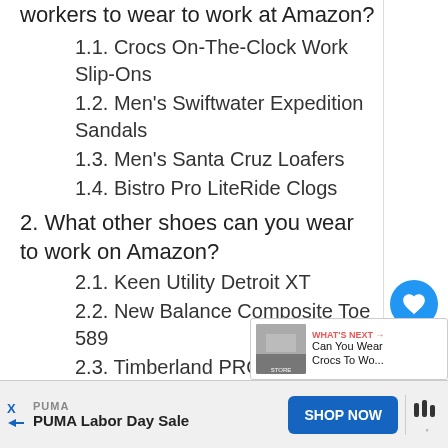workers to wear to work at Amazon?
1.1. Crocs On-The-Clock Work Slip-Ons
1.2. Men's Swiftwater Expedition Sandals
1.3. Men's Santa Cruz Loafers
1.4. Bistro Pro LiteRide Clogs
2. What other shoes can you wear to work on Amazon?
2.1. Keen Utility Detroit XT
2.2. New Balance Composite Toe 589
2.3. Timberland PRO Powertrain Sport
2.4. Fila Men's Memory Workshift Sneakers
3. What is the dress code to work at Amazon?
4. What should be worn on your first day at...
[Figure (other): WHAT'S NEXT promo overlay showing a Crocs store image and text 'Can You Wear Crocs To Wo...']
[Figure (other): Advertisement bar: PUMA Labor Day Sale with SHOP NOW button]